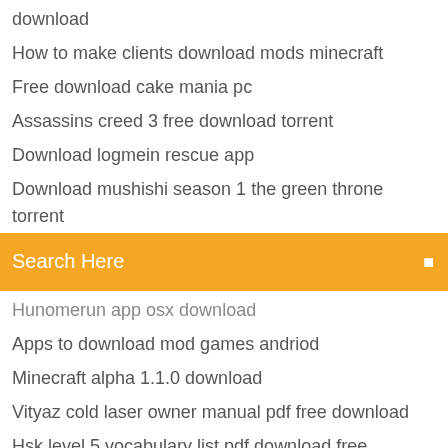download
How to make clients download mods minecraft
Free download cake mania pc
Assassins creed 3 free download torrent
Download logmein rescue app
Download mushishi season 1 the green throne torrent
Hunomerun app osx download
Apps to download mod games andriod
Minecraft alpha 1.1.0 download
Vityaz cold laser owner manual pdf free download
Hsk level 5 vocabulary list pdf download free
Keep downloading sleep windows 10
Sharp mx-2640n driver download windows 10
Democracy in america alexis de tocqueville download pdf
Free pc farming simulator games download full version
Adb fastboot free download latest version
The outpost s01e09 torrent download